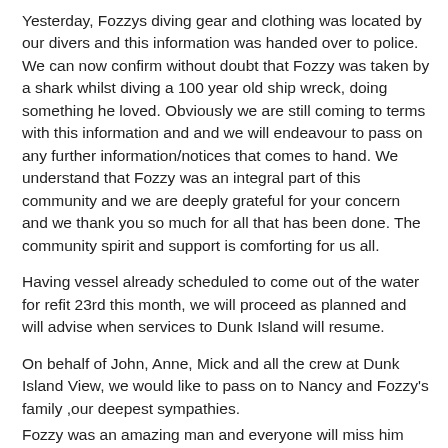Yesterday, Fozzys diving gear and clothing was located by our divers and this information was handed over to police. We can now confirm without doubt that Fozzy was taken by a shark whilst diving a 100 year old ship wreck, doing something he loved. Obviously we are still coming to terms with this information and and we will endeavour to pass on any further information/notices that comes to hand. We understand that Fozzy was an integral part of this community and we are deeply grateful for your concern and we thank you so much for all that has been done. The community spirit and support is comforting for us all.
Having vessel already scheduled to come out of the water for refit 23rd this month, we will proceed as planned and will advise when services to Dunk Island will resume.
On behalf of John, Anne, Mick and all the crew at Dunk Island View, we would like to pass on to Nancy and Fozzy's family ,our deepest sympathies.
Fozzy was an amazing man and everyone will miss him greatly.
Lyndel